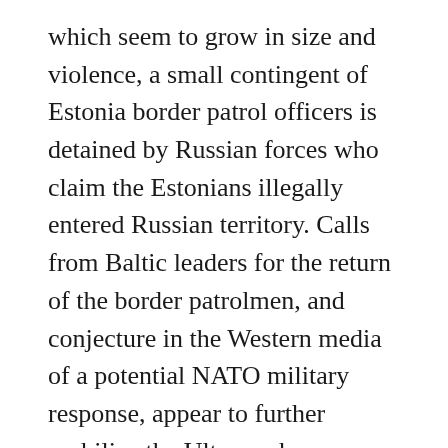which seem to grow in size and violence, a small contingent of Estonia border patrol officers is detained by Russian forces who claim the Estonians illegally entered Russian territory. Calls from Baltic leaders for the return of the border patrolmen, and conjecture in the Western media of a potential NATO military response, appear to further mobilize the Ultras, whose numbers have swelled alongside unconfirmed reports of men trickling across the Russian border.
Tensions soon hit a breaking point as Russian ethnic protesters in the Estonian city of Narva demand autonomous rule. Estonian police and